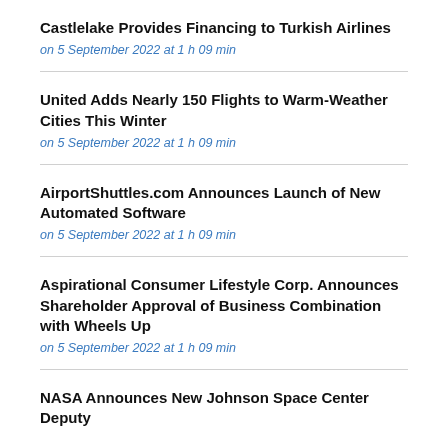Castlelake Provides Financing to Turkish Airlines
on 5 September 2022 at 1 h 09 min
United Adds Nearly 150 Flights to Warm-Weather Cities This Winter
on 5 September 2022 at 1 h 09 min
AirportShuttles.com Announces Launch of New Automated Software
on 5 September 2022 at 1 h 09 min
Aspirational Consumer Lifestyle Corp. Announces Shareholder Approval of Business Combination with Wheels Up
on 5 September 2022 at 1 h 09 min
NASA Announces New Johnson Space Center Deputy